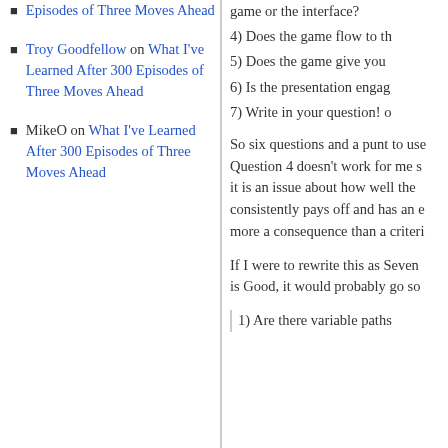Episodes of Three Moves Ahead
Troy Goodfellow on What I've Learned After 300 Episodes of Three Moves Ahead
MikeO on What I've Learned After 300 Episodes of Three Moves Ahead
game or the interface?
4) Does the game flow to th
5) Does the game give you
6) Is the presentation engag
7) Write in your question! o
So six questions and a punt to use Question 4 doesn't work for me s it is an issue about how well the consistently pays off and has an e more a consequence than a criteri
If I were to rewrite this as Seven is Good, it would probably go so
1) Are there variable paths